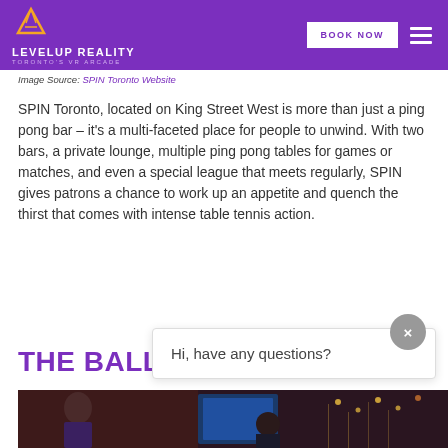LEVELUP REALITY - TORONTO'S VR ARCADE | BOOK NOW
Image Source: SPIN Toronto Website
SPIN Toronto, located on King Street West is more than just a ping pong bar – it's a multi-faceted place for people to unwind. With two bars, a private lounge, multiple ping pong tables for games or matches, and even a special league that meets regularly, SPIN gives patrons a chance to work up an appetite and quench the thirst that comes with intense table tennis action.
THE BALLI
[Figure (photo): Interior venue photo showing people in a dark entertainment space with screens and ambient lighting]
Hi, have any questions?